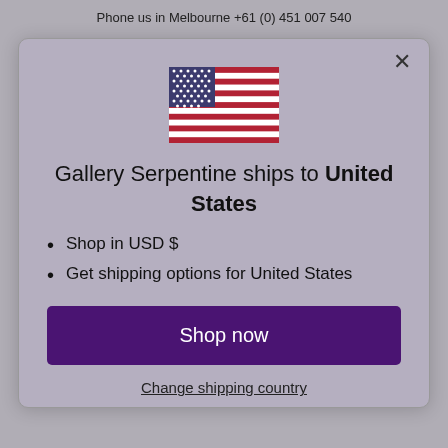Phone us in Melbourne +61 (0) 451 007 540
[Figure (illustration): USA flag icon displayed in the modal dialog]
Gallery Serpentine ships to United States
Shop in USD $
Get shipping options for United States
Shop now
Change shipping country